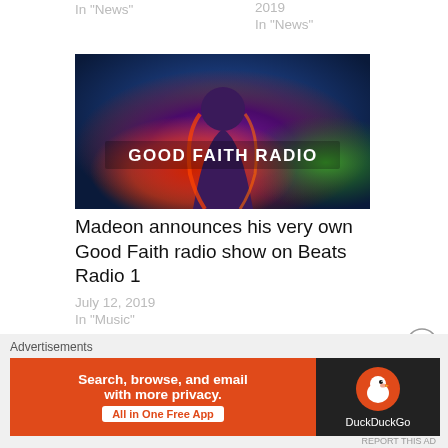In "News"
2019
In "News"
[Figure (illustration): Good Faith Radio album/show artwork with colorful psychedelic background and bold white text reading GOOD FAITH RADIO]
Madeon announces his very own Good Faith radio show on Beats Radio 1
July 12, 2019
In "Music"
Advertisements
[Figure (infographic): DuckDuckGo advertisement: Search, browse, and email with more privacy. All in One Free App. Orange background on left with white text and button; dark background on right with DuckDuckGo logo and duck icon.]